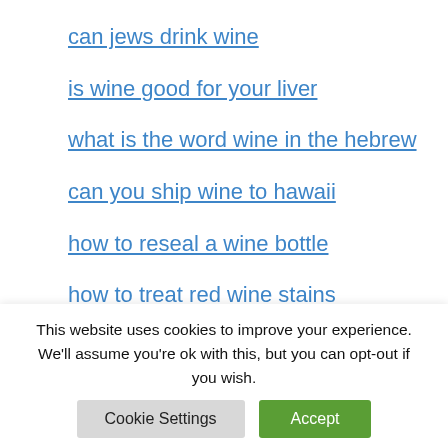can jews drink wine
is wine good for your liver
what is the word wine in the hebrew
can you ship wine to hawaii
how to reseal a wine bottle
how to treat red wine stains
does white wine need to be refrigerated
where to buy mad housewife wine
This website uses cookies to improve your experience. We'll assume you're ok with this, but you can opt-out if you wish.
Cookie Settings | Accept